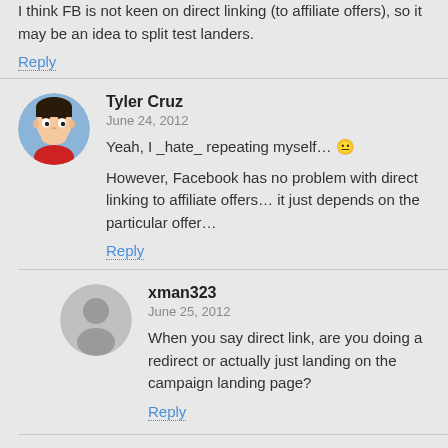I think FB is not keen on direct linking (to affiliate offers), so it may be an idea to split test landers.
Reply
Tyler Cruz
June 24, 2012
Yeah, I _hate_ repeating myself… 😐
However, Facebook has no problem with direct linking to affiliate offers… it just depends on the particular offer…
Reply
xman323
June 25, 2012
When you say direct link, are you doing a redirect or actually just landing on the campaign landing page?
Reply